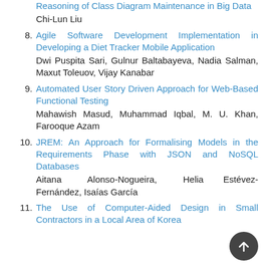Reasoning of Class Diagram Maintenance in Big Data
Chi-Lun Liu
8. Agile Software Development Implementation in Developing a Diet Tracker Mobile Application
Dwi Puspita Sari, Gulnur Baltabayeva, Nadia Salman, Maxut Toleuov, Vijay Kanabar
9. Automated User Story Driven Approach for Web-Based Functional Testing
Mahawish Masud, Muhammad Iqbal, M. U. Khan, Farooque Azam
10. JREM: An Approach for Formalising Models in the Requirements Phase with JSON and NoSQL Databases
Aitana Alonso-Nogueira, Helia Estévez-Fernández, Isaías García
11. The Use of Computer-Aided Design in Small Contractors in a Local Area of Korea